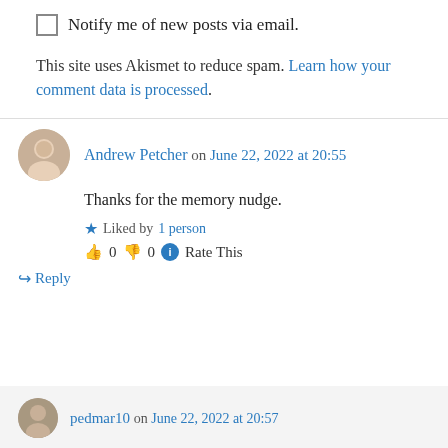Notify me of new posts via email.
This site uses Akismet to reduce spam. Learn how your comment data is processed.
Andrew Petcher on June 22, 2022 at 20:55
Thanks for the memory nudge.
Liked by 1 person
👍 0 👎 0 ℹ Rate This
↪ Reply
pedmar10 on June 22, 2022 at 20:57